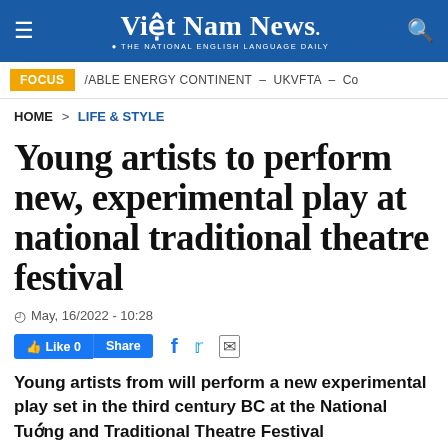Việt Nam News. THE NATIONAL ENGLISH LANGUAGE DAILY
FOCUS | /ABLE ENERGY CONTINENT – UKVFTA – Co
HOME > LIFE & STYLE
Young artists to perform new, experimental play at national traditional theatre festival
May, 16/2022 - 10:28
Like 0  Share
Young artists from will perform a new experimental play set in the third century BC at the National Tướng and Traditional Theatre Festival